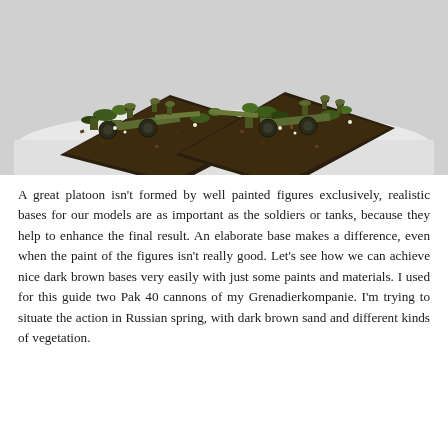[Figure (photo): Two military scale model dioramas showing Pak 40 anti-tank cannons with German soldiers on textured bases with grass and dirt, displayed on a light-colored surface against a grey background.]
A great platoon isn't formed by well painted figures exclusively, realistic bases for our models are as important as the soldiers or tanks, because they help to enhance the final result. An elaborate base makes a difference, even when the paint of the figures isn't really good. Let's see how we can achieve nice dark brown bases very easily with just some paints and materials. I used for this guide two Pak 40 cannons of my Grenadierkompanie. I'm trying to situate the action in Russian spring, with dark brown sand and different kinds of vegetation.